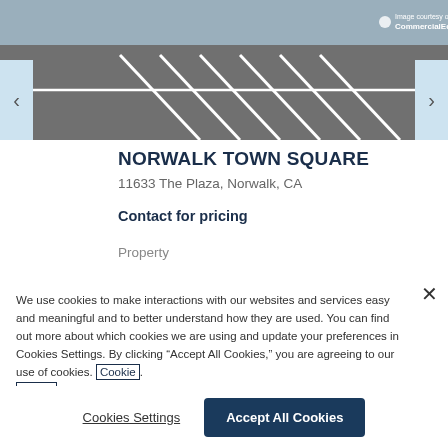[Figure (photo): Aerial or ground-level view of a parking lot with white lane markings on gray asphalt. CommercialEdge watermark in top right corner.]
NORWALK TOWN SQUARE
11633 The Plaza, Norwalk, CA
Contact for pricing
Property
We use cookies to make interactions with our websites and services easy and meaningful and to better understand how they are used. You can find out more about which cookies we are using and update your preferences in Cookies Settings. By clicking “Accept All Cookies,” you are agreeing to our use of cookies. Cookie Notice.
Cookies Settings
Accept All Cookies